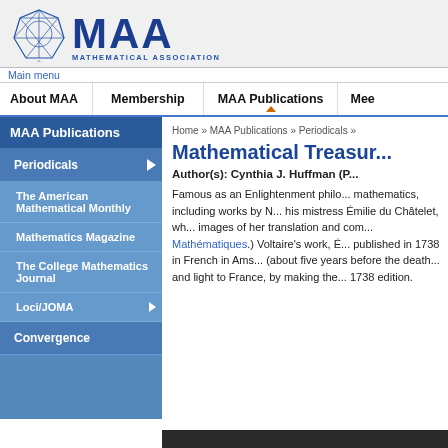[Figure (logo): MAA Mathematical Association of America logo with geometric polyhedron icon and large MAA text in blue]
Main menu | About MAA | Membership | MAA Publications | Mee...
MAA Publications
Periodicals
The American Mathematical Monthly
Mathematics Magazine
The College Mathematics Journal
Loci/JOMA
Convergence
Home » MAA Publications » Periodicals »
Mathematical Treasur...
Author(s): Cynthia J. Huffman (P...
Famous as an Enlightenment philo... mathematics, including works by N... his mistress Émilie du Châtelet, wh... images of her translation and com... Mathématiques.) Voltaire's work, É... published in 1738 in French in Ams... (about five years before the death... and light to France, by making the... 1738 edition.